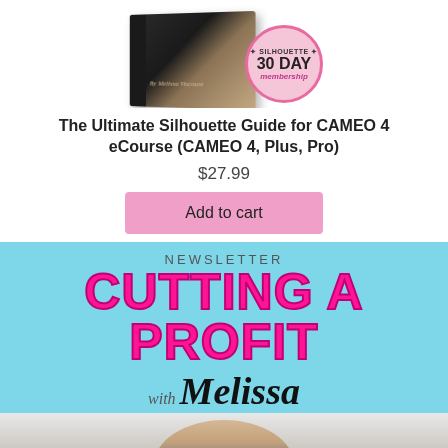[Figure (photo): Product image showing a book and a pink circular badge reading '30 DAY membership']
The Ultimate Silhouette Guide for CAMEO 4 eCourse (CAMEO 4, Plus, Pro)
$27.99
Add to cart
[Figure (illustration): Newsletter banner with light blue background showing 'NEWSLETTER' at top, large pink bold text 'CUTTING A PROFIT', 'with Melissa' in stylized font, and a photo of a woman at the bottom]